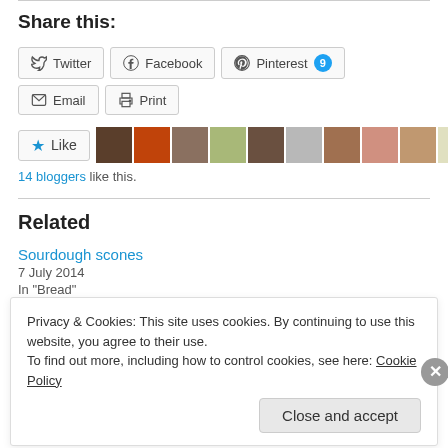Share this:
[Figure (screenshot): Social share buttons: Twitter, Facebook, Pinterest (with badge 9), Email, Print]
[Figure (screenshot): Like button with star icon and row of blogger avatars (14 bloggers)]
14 bloggers like this.
Related
Sourdough scones
7 July 2014
In "Bread"
Privacy & Cookies: This site uses cookies. By continuing to use this website, you agree to their use.
To find out more, including how to control cookies, see here: Cookie Policy